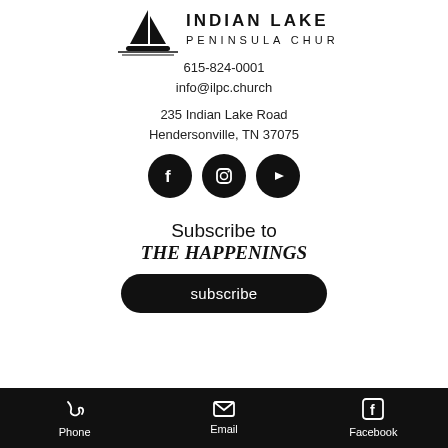[Figure (logo): Indian Lake Peninsula Church logo with sailboat icon and text]
615-824-0001
info@ilpc.church
235 Indian Lake Road
Hendersonville, TN 37075
[Figure (infographic): Social media icons: Facebook, Instagram, YouTube]
Subscribe to
THE HAPPENINGS
subscribe
Phone  Email  Facebook